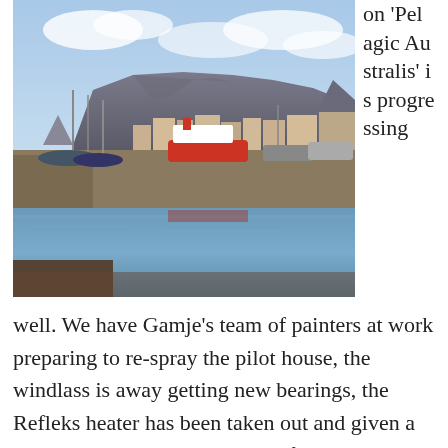[Figure (photo): Harbour scene with boats moored at a waterfront, Table Mountain visible in the background under a partly cloudy sky. Cape Town V&A Waterfront.]
on 'Pelagic Australis' is progressing well. We have Gamje's team of painters at work preparing to re-spray the pilot house, the windlass is away getting new bearings, the Refleks heater has been taken out and given a new burner pot and coil, a lot of interior paintwork has been touched up, all the radiators have been taken out and cleaned out, a chest freezer has been installed in the forepeak ready to contain some ice-cores from a project on South Georgia next season, the old Fleet 77 satellite comms antenna has been